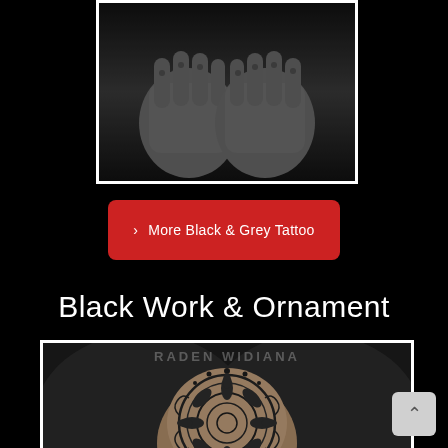[Figure (photo): Black and grey tattoo photo showing two hands with finger tattoos pressed together on dark background]
> More Black & Grey Tattoo
Black Work & Ornament
[Figure (photo): Mandala ornament black work tattoo on hand, with watermark text RADEN WIDIANA in background]